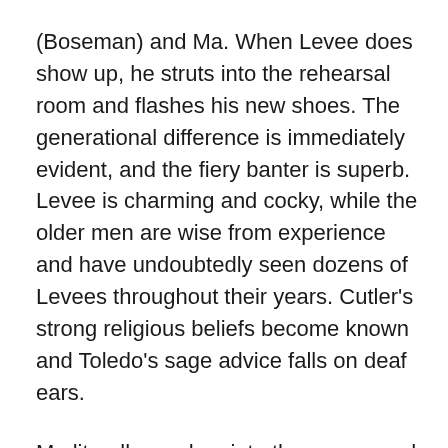(Boseman) and Ma. When Levee does show up, he struts into the rehearsal room and flashes his new shoes. The generational difference is immediately evident, and the fiery banter is superb. Levee is charming and cocky, while the older men are wise from experience and have undoubtedly seen dozens of Levees throughout their years. Cutler's strong religious beliefs become known and Toledo's sage advice falls on deaf ears.
Ma literally crashes into the scene, and we quickly understand that this woman will apologize for nothing, and has earned the right to call her own shots – even if that's only true in this one corner of the universe. She understand the power her record sales give her, and she seizes every possible upper hand – whether it's which arrangement to sing on a song, allowing her stuttering nephew to record, or even demanding a cold coca-cola